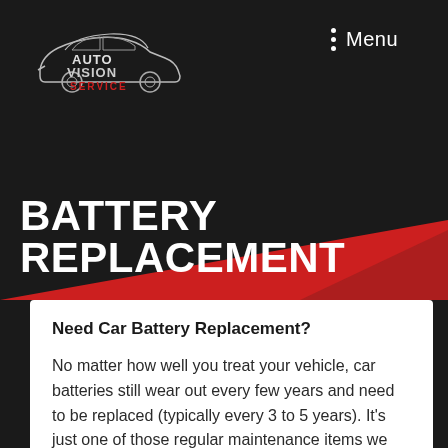[Figure (logo): Auto Vision Service logo — car silhouette outline in white/grey with text 'AUTO VISION SERVICE' in white and red]
Menu
BATTERY REPLACEMENT
Need Car Battery Replacement?
No matter how well you treat your vehicle, car batteries still wear out every few years and need to be replaced (typically every 3 to 5 years). It's just one of those regular maintenance items we deal with as car